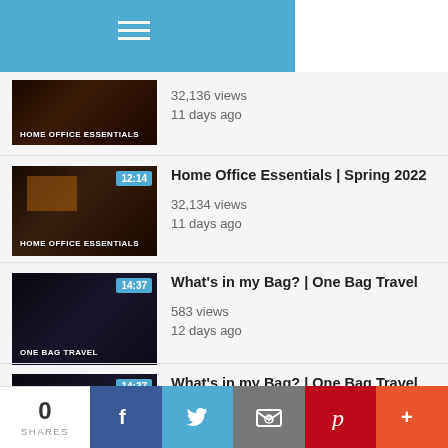Navigation menu
Home Office Essentials | Spring 2022 — 32,136 views — 11 days ago
Home Office Essentials | Spring 2022 — 32,134 views — 11 days ago
What's in my Bag? | One Bag Travel — 583 views — 12 days ago
What's in my Bag? | One Bag Travel — 319 views — 12 days ago
0 SHARES — Facebook — Twitter — Email — Pinterest — More